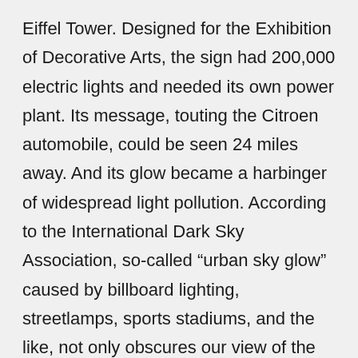Eiffel Tower. Designed for the Exhibition of Decorative Arts, the sign had 200,000 electric lights and needed its own power plant. Its message, touting the Citroen automobile, could be seen 24 miles away. And its glow became a harbinger of widespread light pollution. According to the International Dark Sky Association, so-called “urban sky glow” caused by billboard lighting, streetlamps, sports stadiums, and the like, not only obscures our view of the stars, it also interferes with the signals that nature sends to many plants and animals. Consider baby sea turtles, for example. When they hatch at night out of beach sand, they head for the brightest spot, which under natural conditions is the horizon over the sea. Artificial light confuses them, making it harder to find the water in time to avoid predators. Migratory birds are also affected, veering off their normal routes and